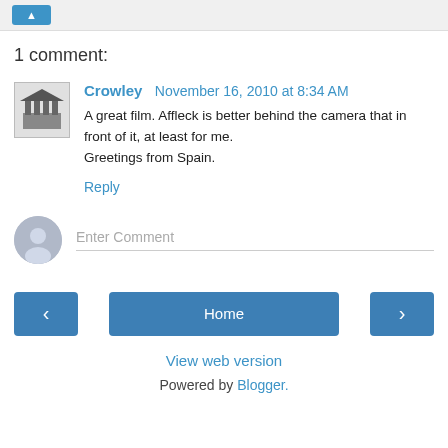[button]
1 comment:
[Figure (illustration): User avatar showing a building/columns silhouette in grayscale]
Crowley  November 16, 2010 at 8:34 AM
A great film. Affleck is better behind the camera that in front of it, at least for me.
Greetings from Spain.
Reply
[Figure (illustration): Generic user profile avatar circle icon in gray]
Enter Comment
< (previous navigation button)
Home
> (next navigation button)
View web version
Powered by Blogger.